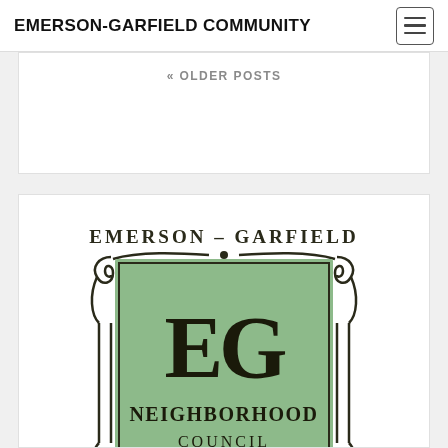EMERSON-GARFIELD COMMUNITY
« OLDER POSTS
[Figure (logo): Emerson-Garfield Neighborhood Council logo with decorative Art Nouveau border, green background rectangle, large EG monogram, and text 'NEIGHBORHOOD COUNCIL']